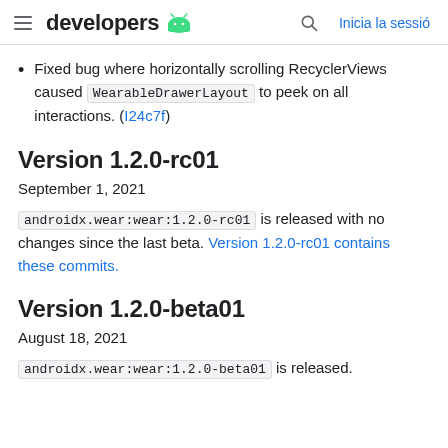developers [android logo] | Inicia la sessió
Fixed bug where horizontally scrolling RecyclerViews caused WearableDrawerLayout to peek on all interactions. (I24c7f)
Version 1.2.0-rc01
September 1, 2021
androidx.wear:wear:1.2.0-rc01 is released with no changes since the last beta. Version 1.2.0-rc01 contains these commits.
Version 1.2.0-beta01
August 18, 2021
androidx.wear:wear:1.2.0-beta01 is released.